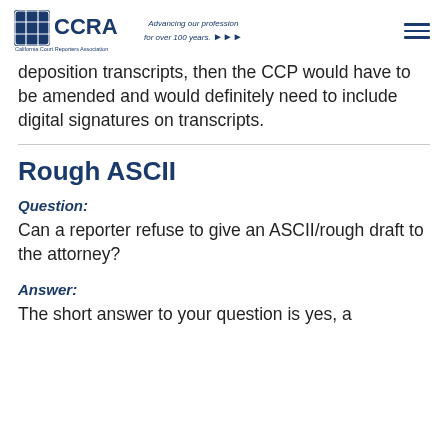CCRA - California Court Reporters Association — Advancing our profession for over 100 years.
deposition transcripts, then the CCP would have to be amended and would definitely need to include digital signatures on transcripts.
Rough ASCII
Question:
Can a reporter refuse to give an ASCII/rough draft to the attorney?
Answer:
The short answer to your question is yes, a